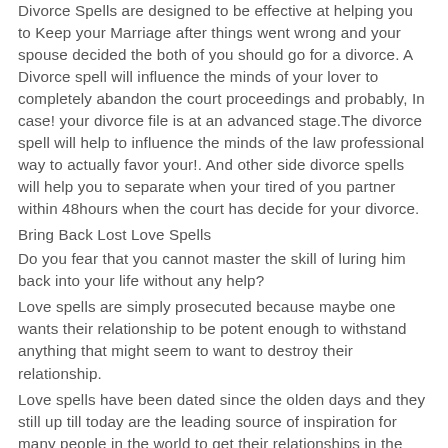Divorce Spells are designed to be effective at helping you to Keep your Marriage after things went wrong and your spouse decided the both of you should go for a divorce. A Divorce spell will influence the minds of your lover to completely abandon the court proceedings and probably, In case! your divorce file is at an advanced stage.The divorce spell will help to influence the minds of the law professional way to actually favor your!. And other side divorce spells will help you to separate when your tired of you partner within 48hours when the court has decide for your divorce.
Bring Back Lost Love Spells
Do you fear that you cannot master the skill of luring him back into your life without any help?
Love spells are simply prosecuted because maybe one wants their relationship to be potent enough to withstand anything that might seem to want to destroy their relationship.
Love spells have been dated since the olden days and they still up till today are the leading source of inspiration for many people in the world to get their relationships in the right or effective manner.
Passion Love Spells